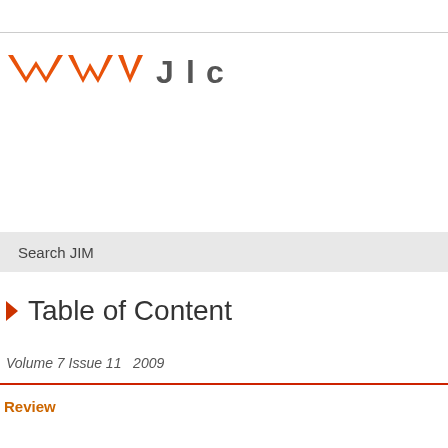[Figure (logo): JIM journal logo with orange mountain/chevron shapes and partial text]
Search JIM
Table of Content
Volume 7 Issue 11  2009
Review